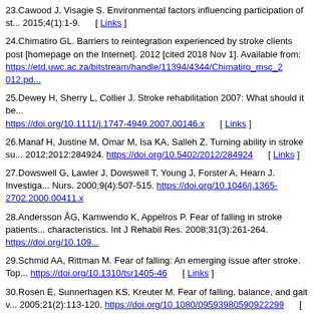23.Cawood J, Visagie S. Environmental factors influencing participation of st... 2015;4(1):1-9. [ Links ]
24.Chimatiro GL. Barriers to reintegration experienced by stroke clients post [homepage on the Internet]. 2012 [cited 2018 Nov 1]. Available from: https://etd.uwc.ac.za/bitstream/handle/11394/4344/Chimatiro_msc_2 012.pd...
25.Dewey H, Sherry L, Collier J. Stroke rehabilitation 2007: What should it be... https://doi.org/10.1111/j.1747-4949.2007.00146.x [ Links ]
26.Manaf H, Justine M, Omar M, Isa KA, Salleh Z. Turning ability in stroke su... 2012;2012:284924. https://doi.org/10.5402/2012/284924 [ Links ]
27.Dowswell G, Lawler J, Dowswell T, Young J, Forster A, Hearn J. Investiga... Nurs. 2000;9(4):507-515. https://doi.org/10.1046/j.1365-2702.2000.00411.x
28.Andersson ÅG, Kamwendo K, Appelros P. Fear of falling in stroke patients... characteristics. Int J Rehabil Res. 2008;31(3):261-264. https://doi.org/10.109...
29.Schmid AA, Rittman M. Fear of falling: An emerging issue after stroke. Top... https://doi.org/10.1310/tsr1405-46 [ Links ]
30.Rosén E, Sunnerhagen KS, Kreuter M. Fear of falling, balance, and gait v... 2005;21(2):113-120. https://doi.org/10.1080/09593980590922299 [ Links ]
31.Lee KB, Lim SH, Kim KH, et al. Six-month functional recovery of stroke pa... 2015;38(2):173. https://doi.org/10.1097/MRR.0000000000000108 [ Links ]
32.Gustafsson L, Bootle K. Client and carer experience of transition home fro... 2013;35(16):1380-1386. https://doi.org/10.1097/MRR.0000000000000108